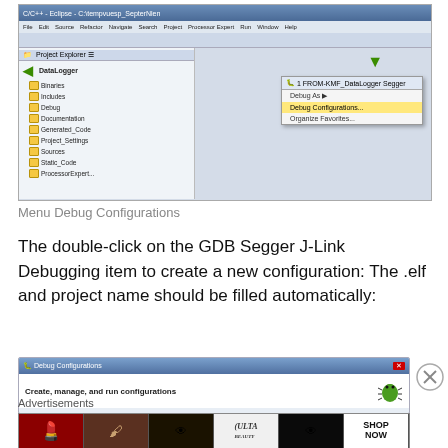[Figure (screenshot): Eclipse IDE C/C++ perspective showing Project Explorer with DataLogger project highlighted by green arrow, and a dropdown menu showing Debug As > Debug Configurations... highlighted in yellow, with a green arrow pointing to a toolbar icon at the top right.]
Menu Debug Configurations
The double-click on the GDB Segger J-Link Debugging item to create a new configuration: The .elf and project name should be filled automatically:
[Figure (screenshot): Debug Configurations dialog window header showing title bar 'Debug Configurations' with a red X close button, and subtitle 'Create, manage, and run configurations' with a green bug icon on the right.]
Advertisements
[Figure (screenshot): Ulta Beauty advertisement banner showing makeup images and 'SHOP NOW' call to action.]